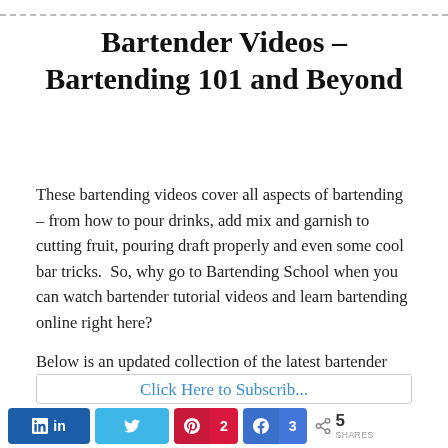Bartender Videos – Bartending 101 and Beyond
These bartending videos cover all aspects of bartending – from how to pour drinks, add mix and garnish to cutting fruit, pouring draft properly and even some cool bar tricks.  So, why go to Bartending School when you can watch bartender tutorial videos and learn bartending online right here?
Below is an updated collection of the latest bartender training videos we offer.  Note that we have tons more bar videos on our YouTube channel
in | t | 2 | 3 | < 5 SHARES